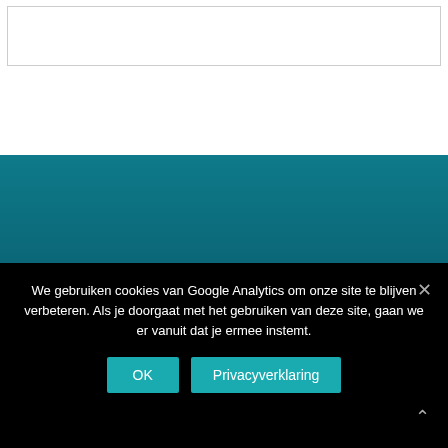[Figure (screenshot): White top section with a bordered empty box]
Our stay was amazing. Just perfect. Already planning our next trip back!
We gebruiken cookies van Google Analytics om onze site te blijven verbeteren. Als je doorgaat met het gebruiken van deze site, gaan we er vanuit dat je ermee instemt.